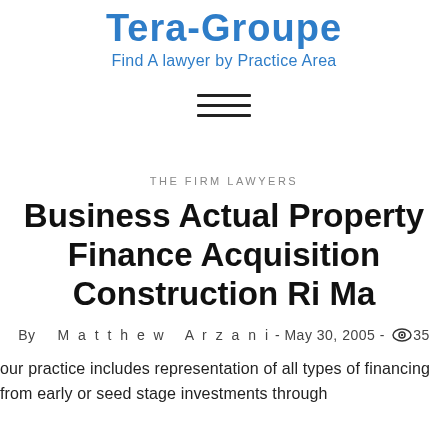Tera-Groupe
Find A lawyer by Practice Area
[Figure (other): Hamburger menu icon with three horizontal lines]
THE FIRM LAWYERS
Business Actual Property Finance Acquisition Construction Ri Ma
By   Matthew Arzani - May 30, 2005 - 👁 35
our practice includes representation of all types of financing from early or seed stage investments through